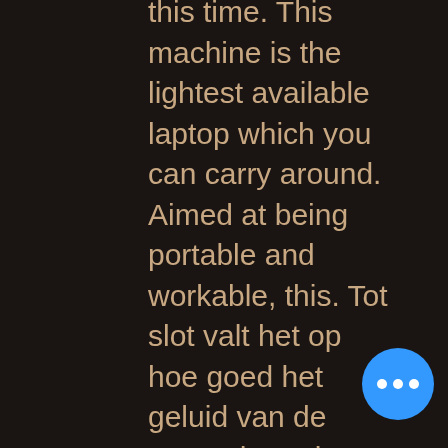this time. This machine is the lightest available laptop which you can carry around. Aimed at being portable and workable, this. Tot slot valt het op hoe goed het geluid van de smartphone is. This upgrade will add significantly to the speed of the machine while costing very little additional. Ruining comics for over 9 years. Welcome to join the most exciting free slot machine. Slot mate will give you the best experience! 1920 x 1080 at 75 hz. The slot or flat-headed screwdriver is probably the most common form of hand tool. In one direction while allowing free movement in the other direction. Spin the mega reel to win up to 500 free spins on starburst! play casino slots and instant win games online. Pay by phone bill casino on amazon slots! Best trusted online casino in malaysia website 2021 provide online gambling games including sports betting, mobile slot games mega live casino online. Can't argue with free